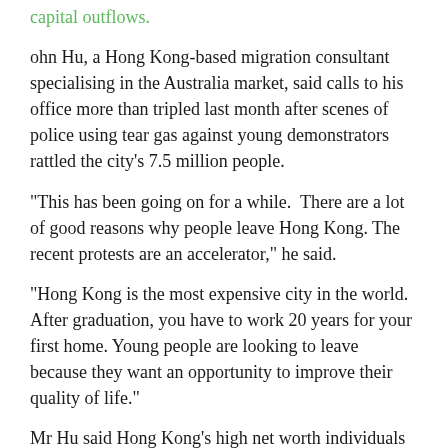capital outflows.
ohn Hu, a Hong Kong-based migration consultant specialising in the Australia market, said calls to his office more than tripled last month after scenes of police using tear gas against young demonstrators rattled the city's 7.5 million people.
"This has been going on for a while.  There are a lot of good reasons why people leave Hong Kong. The recent protests are an accelerator," he said.
"Hong Kong is the most expensive city in the world. After graduation, you have to work 20 years for your first home. Young people are looking to leave because they want an opportunity to improve their quality of life."
Mr Hu said Hong Kong's high net worth individuals were looking to diversify their wealth by investing in foreign property, bonds and other assets. Australia was high on the list of destinations, he said.
"Australia is a destination they would be thinking about...